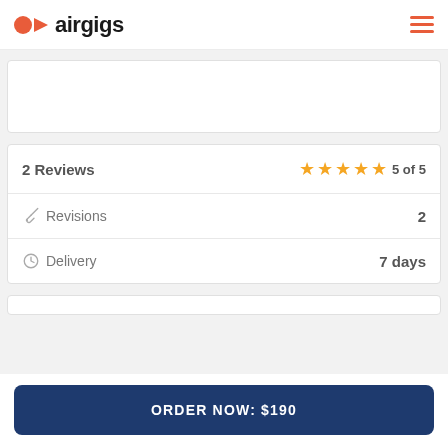airgigs
|  |  |
| --- | --- |
| 2 Reviews | ★★★★★ 5 of 5 |
| 🔑 Revisions | 2 |
| 🕐 Delivery | 7 days |
ORDER NOW: $190